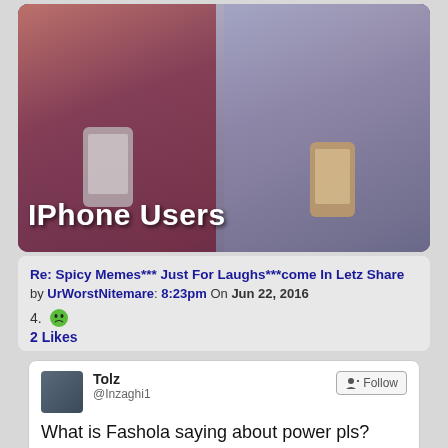[Figure (photo): Two women looking down at their smartphones, meme image with text 'IPhone Users' overlaid at the bottom]
Re: Spicy Memes*** Just For Laughs***come In Letz Share by UrWorstNitemare: 8:23pm On Jun 22, 2016
4. 😨
2 Likes
[Figure (screenshot): Embedded tweet by Tolz (@Inzaghi1) saying 'What is Fashola saying about power pls?' dated 10/06/2016, 9:25 AM with 2 RETWEETS and 1 LIKE]